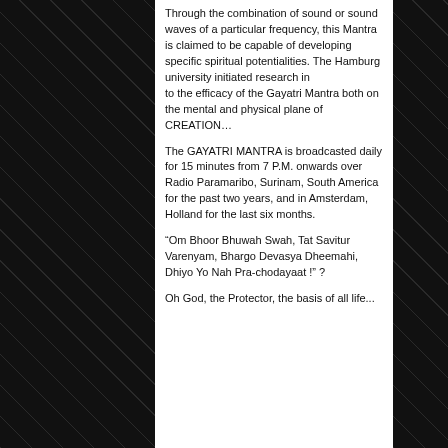Through the combination of sound or sound waves of a particular frequency, this Mantra is claimed to be capable of developing specific spiritual potentialities. The Hamburg university initiated research in to the efficacy of the Gayatri Mantra both on the mental and physical plane of CREATION…
The GAYATRI MANTRA is broadcasted daily for 15 minutes from 7 P.M. onwards over Radio Paramaribo, Surinam, South America for the past two years, and in Amsterdam, Holland for the last six months.
“Om Bhoor Bhuwah Swah, Tat Savitur Varenyam, Bhargo Devasya Dheemahi, Dhiyo Yo Nah Pra-chodayaat !” ?
Oh God, the Protector, the basis of all life...